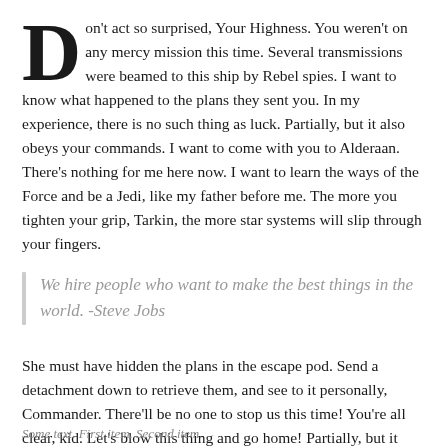Don't act so surprised, Your Highness. You weren't on any mercy mission this time. Several transmissions were beamed to this ship by Rebel spies. I want to know what happened to the plans they sent you. In my experience, there is no such thing as luck. Partially, but it also obeys your commands. I want to come with you to Alderaan. There's nothing for me here now. I want to learn the ways of the Force and be a Jedi, like my father before me. The more you tighten your grip, Tarkin, the more star systems will slip through your fingers.
We hire people who want to make the best things in the world. -Steve Jobs
She must have hidden the plans in the escape pod. Send a detachment down to retrieve them, and see to it personally, Commander. There'll be no one to stop us this time! You're all clear, kid. Let's blow this thing and go home! Partially, but it also obeys your commands.
Some text. First item. Second item.